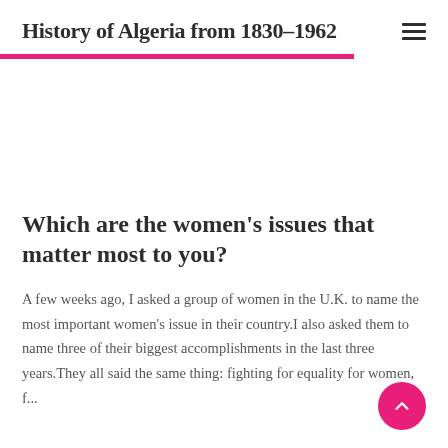History of Algeria from 1830–1962
Which are the women's issues that matter most to you?
A few weeks ago, I asked a group of women in the U.K. to name the most important women's issue in their country.I also asked them to name three of their biggest accomplishments in the last three years.They all said the same thing: fighting for equality for women, f...